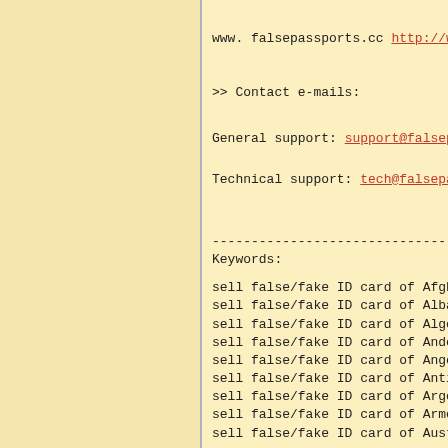www. falsepassports.cc http://www.falsepassports.cc
>> Contact e-mails:
General support: support@falsepassports.cc
Technical support: tech@falsepassports.cc
------------------------------
Keywords:
sell false/fake ID card of Afghanistan
sell false/fake ID card of Albania
sell false/fake ID card of Algeria
sell false/fake ID card of Andorra
sell false/fake ID card of Angola
sell false/fake ID card of Antigua & Dep
sell false/fake ID card of Argentina
sell false/fake ID card of Armenia
sell false/fake ID card of Australia